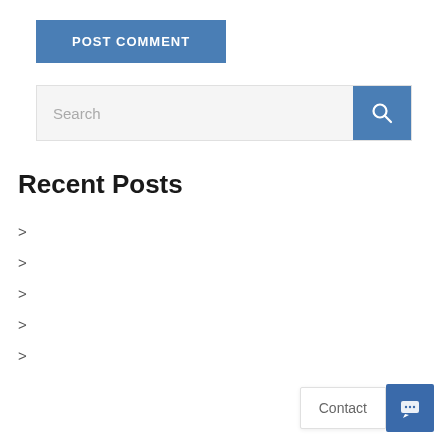POST COMMENT
[Figure (other): Search bar with text input placeholder 'Search' and blue search button with magnifying glass icon]
Recent Posts
>
>
>
>
>
[Figure (other): Contact widget with 'Contact' label and blue chat icon button]